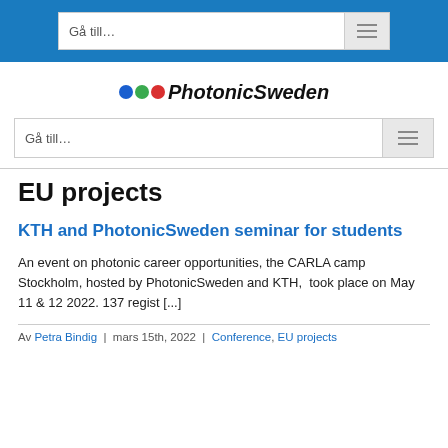Gå till…
[Figure (logo): PhotonicSweden logo with three colored dots (blue, green, red) followed by italic bold text 'PhotonicSweden']
Gå till…
EU projects
KTH and PhotonicSweden seminar for students
An event on photonic career opportunities, the CARLA camp Stockholm, hosted by PhotonicSweden and KTH,  took place on May 11 & 12 2022. 137 regist [...]
Av Petra Bindig  |  mars 15th, 2022  |  Conference, EU projects